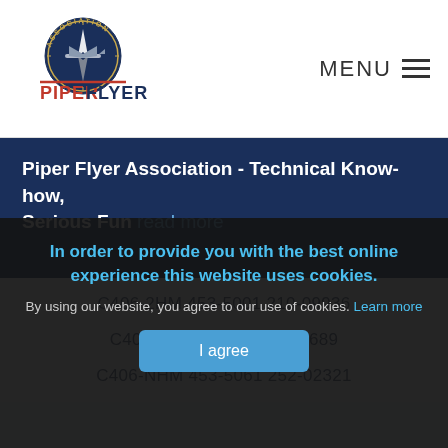[Figure (logo): Piper Flyer Association logo with compass/aircraft emblem and red text PIPER FLYER]
MENU ≡
Piper Flyer Association - Technical Know-how, Serious Fun read more
C406-2HM 453-5001 210-09936
C406-N 453-5060 252-01689
C406-NHM 453-5061 252-02321
In order to provide you with the best online experience this website uses cookies.
By using our website, you agree to our use of cookies. Learn more
I agree